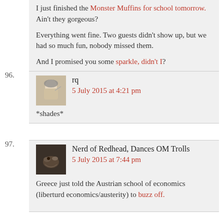I just finished the Monster Muffins for school tomorrow. Ain't they gorgeous? Everything went fine. Two guests didn't show up, but we had so much fun, nobody missed them. And I promised you some sparkle, didn't I?
96. rq — 5 July 2015 at 4:21 pm
*shades*
97. Nerd of Redhead, Dances OM Trolls — 5 July 2015 at 7:44 pm
Greece just told the Austrian school of economics (liberturd economics/austerity) to buzz off.